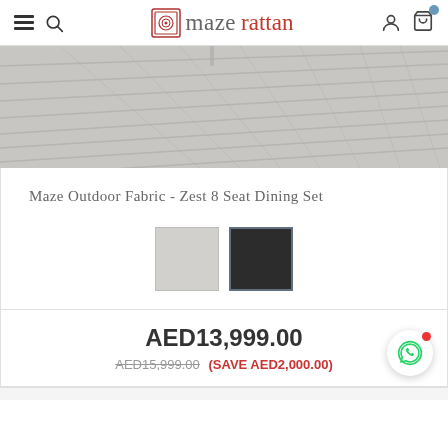mazerattan
[Figure (photo): Outdoor wooden deck planks viewed from angle, grey/white tones, partial view of furniture leg]
Maze Outdoor Fabric - Zest 8 Seat Dining Set
[Figure (other): Two color swatches: light grey square and dark charcoal square with blue-grey border (selected)]
AED13,999.00
AED15,999.00 (SAVE AED2,000.00)